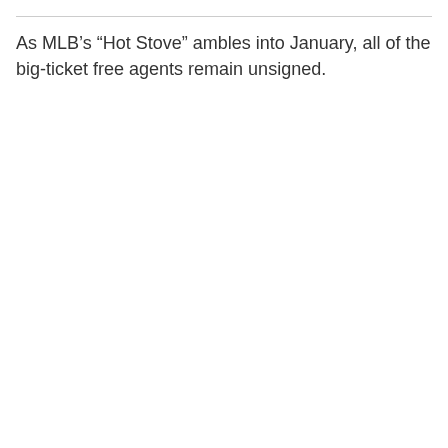As MLB’s “Hot Stove” ambles into January, all of the big-ticket free agents remain unsigned.